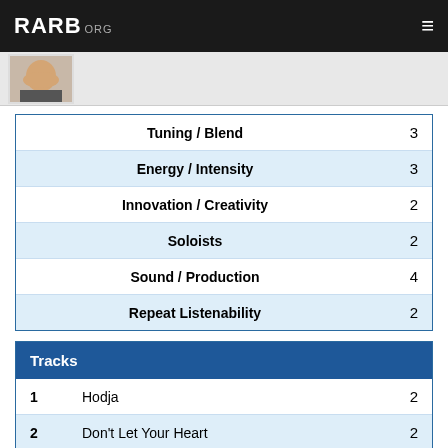RARB.ORG
[Figure (photo): Partial view of a person's face/photo thumbnail]
| Category | Score |
| --- | --- |
| Tuning / Blend | 3 |
| Energy / Intensity | 3 |
| Innovation / Creativity | 2 |
| Soloists | 2 |
| Sound / Production | 4 |
| Repeat Listenability | 2 |
| Tracks |  |
| --- | --- |
| 1  Hodja | 2 |
| 2  Don't Let Your Heart | 2 |
| 3  Lullabye | 1 |